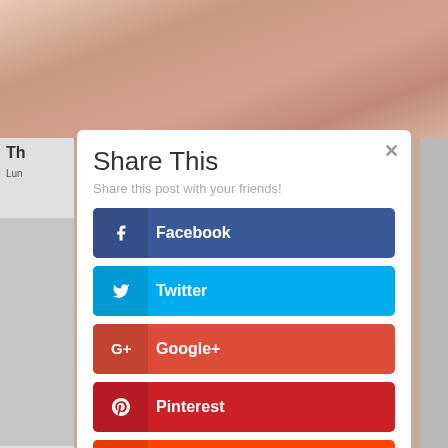[Figure (screenshot): Background showing fingers/nails photo at top, with partial webpage content visible on the left and right sides]
Share This
Share this post with your friends!
Facebook
Twitter
Google+
Pinterest
reddit
LinkedIn